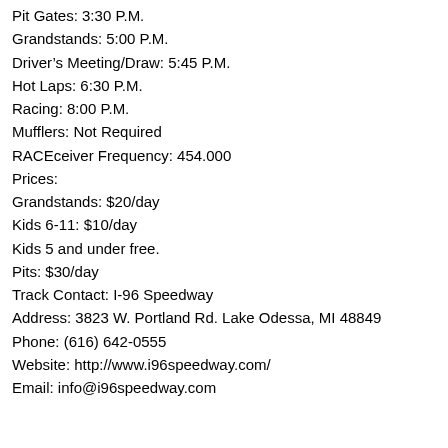Pit Gates: 3:30 P.M.
Grandstands: 5:00 P.M.
Driver's Meeting/Draw: 5:45 P.M.
Hot Laps: 6:30 P.M.
Racing: 8:00 P.M.
Mufflers: Not Required
RACEceiver Frequency: 454.000
Prices:
Grandstands: $20/day
Kids 6-11: $10/day
Kids 5 and under free.
Pits: $30/day
Track Contact: I-96 Speedway
Address: 3823 W. Portland Rd. Lake Odessa, MI 48849
Phone: (616) 642-0555
Website: http://www.i96speedway.com/
Email: info@i96speedway.com